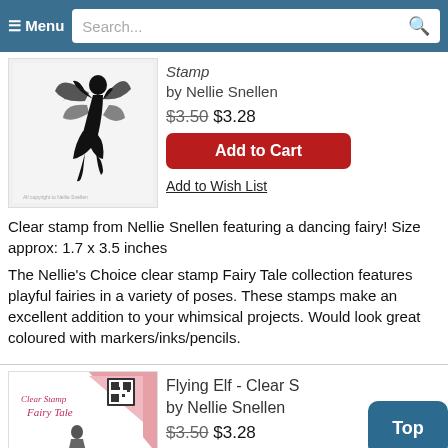☰ Menu  Search...
[Figure (illustration): Black silhouette of a dancing fairy with wings on a white background, product image for a clear stamp]
Stamp
by Nellie Snellen
$3.50 $3.28
Add to Cart
Add to Wish List
Clear stamp from Nellie Snellen featuring a dancing fairy! Size approx: 1.7 x 3.5 inches
The Nellie's Choice clear stamp Fairy Tale collection features playful fairies in a variety of poses. These stamps make an excellent addition to your whimsical projects. Would look great coloured with markers/inks/pencils.
[Figure (photo): Product image of a Clear Stamp Fairy Tale collection featuring a pink background with logo and a partially visible elf figure]
Flying Elf - Clear S...
by Nellie Snellen
$3.50 $3.28